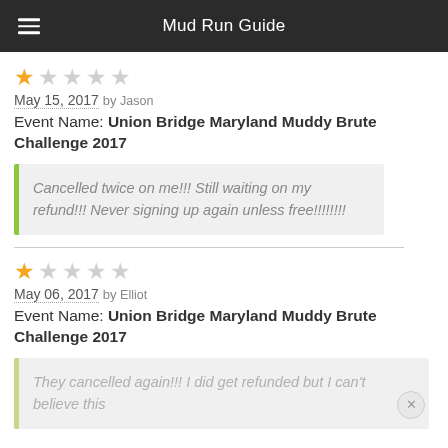Mud Run Guide
[Figure (other): 1-star rating (1 filled, 4 empty stars)]
May 15, 2017 by Jason
Event Name: Union Bridge Maryland Muddy Brute Challenge 2017
Cancelled twice on me!!! Still waiting on my refund!!! Never signing up again unless free!!!!!!!!
[Figure (other): 1-star rating (1 filled, 4 empty stars)]
May 06, 2017 by Elliot
Event Name: Union Bridge Maryland Muddy Brute Challenge 2017
They cancelled again!!! I did get refunded but I can't believe this